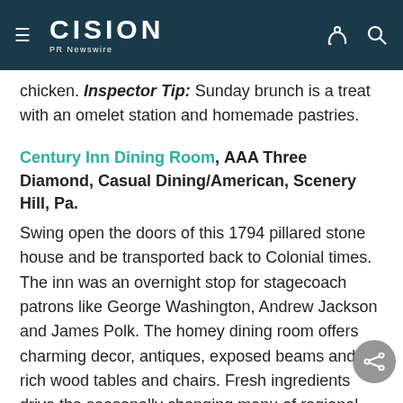CISION PR Newswire
chicken. Inspector Tip: Sunday brunch is a treat with an omelet station and homemade pastries.
Century Inn Dining Room, AAA Three Diamond, Casual Dining/American, Scenery Hill, Pa.
Swing open the doors of this 1794 pillared stone house and be transported back to Colonial times. The inn was an overnight stop for stagecoach patrons like George Washington, Andrew Jackson and James Polk. The homey dining room offers charming decor, antiques, exposed beams and rich wood tables and chairs. Fresh ingredients drive the seasonally changing menu of regional American dishes served by staff dressed in Colonial clobber.